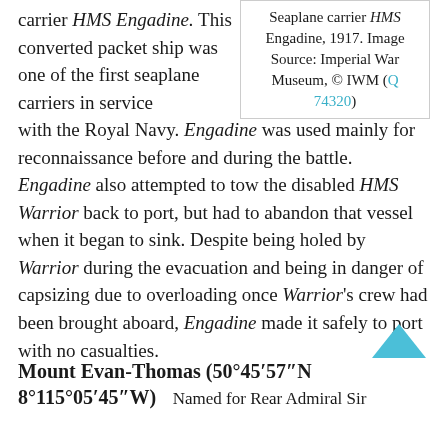carrier HMS Engadine. This converted packet ship was one of the first seaplane carriers in service with the Royal Navy. Engadine was used mainly for reconnaissance before and during the battle. Engadine also attempted to tow the disabled HMS Warrior back to port, but had to abandon that vessel when it began to sink. Despite being holed by Warrior during the evacuation and being in danger of capsizing due to overloading once Warrior's crew had been brought aboard, Engadine made it safely to port with no casualties.
Seaplane carrier HMS Engadine, 1917. Image Source: Imperial War Museum, © IWM (Q 74320)
Mount Evan-Thomas (50°45′57″N 8°115°05′45″W)
Named for Rear Admiral Sir